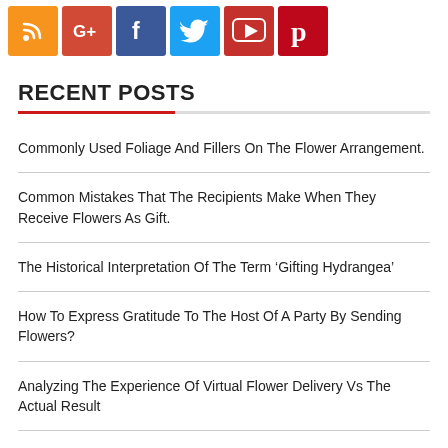[Figure (other): Social media icon buttons: RSS (orange), Google+ (red), Facebook (blue), Twitter (cyan/blue), YouTube (dark red), Pinterest (red)]
RECENT POSTS
Commonly Used Foliage And Fillers On The Flower Arrangement.
Common Mistakes That The Recipients Make When They Receive Flowers As Gift.
The Historical Interpretation Of The Term ‘Gifting Hydrangea’
How To Express Gratitude To The Host Of A Party By Sending Flowers?
Analyzing The Experience Of Virtual Flower Delivery Vs The Actual Result